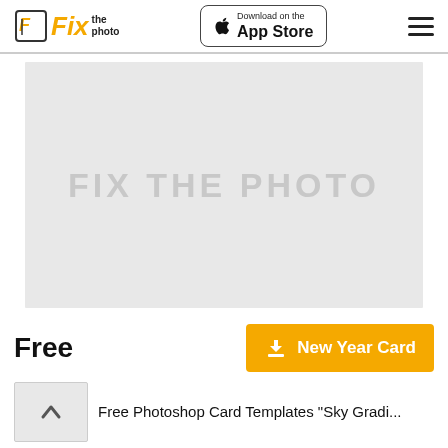Fix the photo | Download on the App Store
[Figure (photo): Large grey placeholder image with watermark text 'FIX THE PHOTO']
Free
New Year Card
[Figure (photo): Small thumbnail with up arrow (back to top)]
Free Photoshop Card Templates "Sky Gradi..."